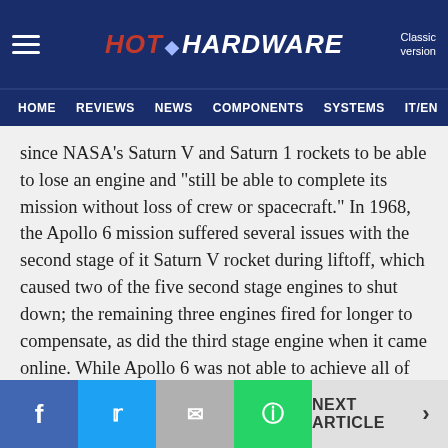HotHardware — Classic version | HOME | REVIEWS | NEWS | COMPONENTS | SYSTEMS | IT/EN
since NASA's Saturn V and Saturn 1 rockets to be able to lose an engine and "still be able to complete its mission without loss of crew or spacecraft." In 1968, the Apollo 6 mission suffered several issues with the second stage of it Saturn V rocket during liftoff, which caused two of the five second stage engines to shut down; the remaining three engines fired for longer to compensate, as did the third stage engine when it came online. While Apollo 6 was not able to achieve all of its original mission objectives, the redundancy built-into the Saturn V's engines allowed the Apollo 6 Service Module to reach orbit and accomplish at least some of the mission.
NEXT ARTICLE >